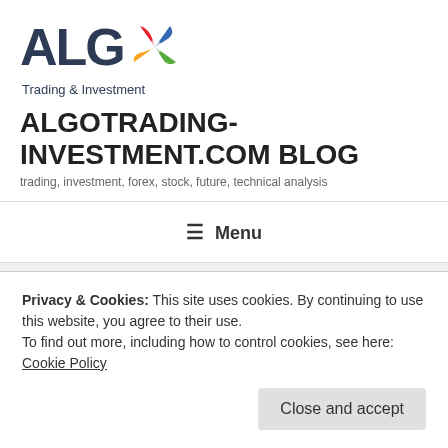[Figure (logo): ALGO Trading & Investment logo — bold dark blue letters 'ALG' followed by a colorful pinwheel/compass icon, with 'Trading & Investment' subtitle below]
ALGOTRADING-INVESTMENT.COM BLOG
trading, investment, forex, stock, future, technical analysis
≡  Menu
CATEGORY: ACCOUNT COPIER
Privacy & Cookies: This site uses cookies. By continuing to use this website, you agree to their use.
To find out more, including how to control cookies, see here: Cookie Policy